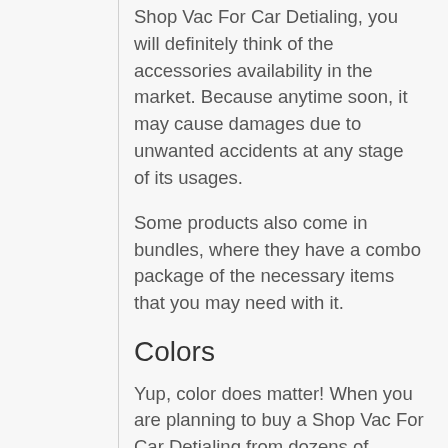Shop Vac For Car Detialing, you will definitely think of the accessories availability in the market. Because anytime soon, it may cause damages due to unwanted accidents at any stage of its usages.
Some products also come in bundles, where they have a combo package of the necessary items that you may need with it.
Colors
Yup, color does matter! When you are planning to buy a Shop Vac For Car Detialing from dozens of models,